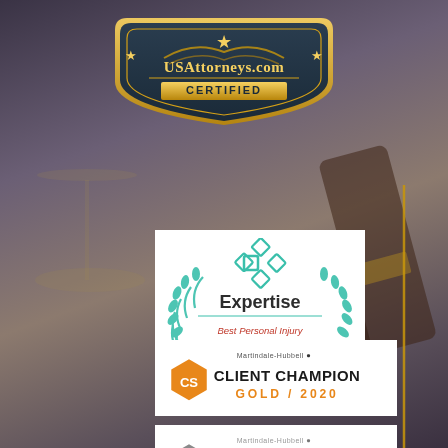[Figure (logo): USAttorneys.com Certified badge - dark navy shield/crest shape with gold border, gold stars, gold eagle wing motif, text 'USAttorneys.com' in gold, 'CERTIFIED' below in gold letters on gold banner]
[Figure (logo): Expertise badge - white rectangular badge with teal diamond logo, laurel wreath, text 'Expertise', 'Best Personal Injury Attorneys in Cape Coral', '2020']
[Figure (logo): Martindale-Hubbell Client Champion Gold / 2020 badge - white background, orange hexagon logo with 'CS' monogram, 'CLIENT CHAMPION' in bold black, 'GOLD / 2020' in orange]
[Figure (logo): Martindale-Hubbell Client Champion Platinum / 2022 badge - white background, gray hexagon logo with 'CS' monogram, 'CLIENT CHAMPION' in bold dark text, 'PLATINUM / 2022' in gray]